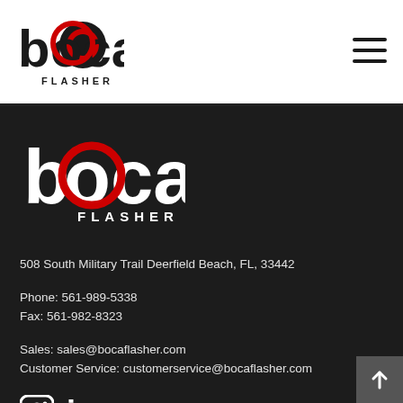[Figure (logo): Boca Flasher logo in white header bar]
[Figure (illustration): Hamburger menu icon (three horizontal lines) in top right of header]
[Figure (logo): Large Boca Flasher logo in dark footer section]
508 South Military Trail Deerfield Beach, FL, 33442
Phone: 561-989-5338
Fax: 561-982-8323
Sales: sales@bocaflasher.com
Customer Service: customerservice@bocaflasher.com
[Figure (illustration): Instagram and LinkedIn social media icons]